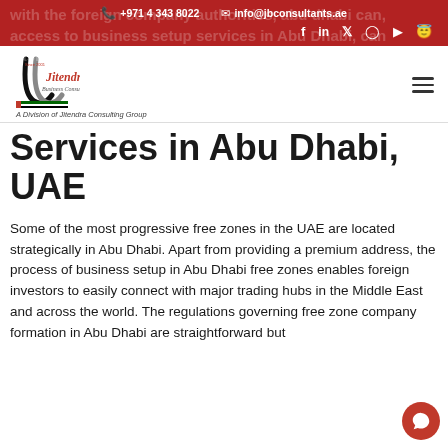+971 4 343 8022 | info@jbconsultants.ae
[Figure (logo): Jitendra Business Consultants logo with stylized J and UAE flag colors, tagline: A Division of Jitendra Consulting Group]
Services in Abu Dhabi, UAE
Some of the most progressive free zones in the UAE are located strategically in Abu Dhabi. Apart from providing a premium address, the process of business setup in Abu Dhabi free zones enables foreign investors to easily connect with major trading hubs in the Middle East and across the world. The regulations governing free zone company formation in Abu Dhabi are straightforward but